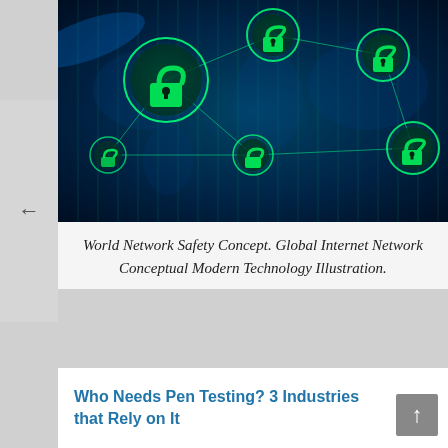[Figure (illustration): Cybersecurity concept illustration showing a world map with glowing green padlock icons connected by network lines on a dark blue/teal background, representing global internet network security.]
World Network Safety Concept. Global Internet Network Conceptual Modern Technology Illustration.
Who Needs Pen Testing? 3 Industries that Rely on It